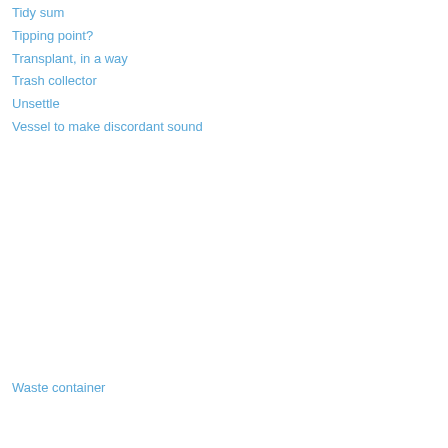Tidy sum
Tipping point?
Transplant, in a way
Trash collector
Unsettle
Vessel to make discordant sound
Waste container